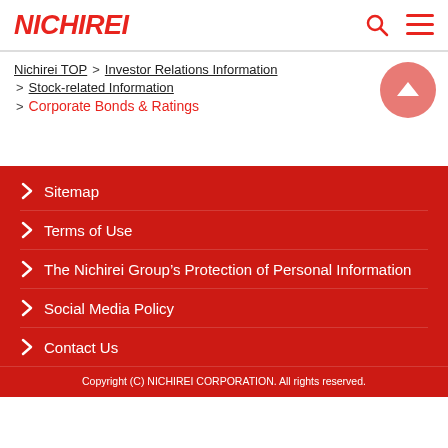NICHIREI
Nichirei TOP > Investor Relations Information > Stock-related Information > Corporate Bonds & Ratings
Sitemap
Terms of Use
The Nichirei Group's Protection of Personal Information
Social Media Policy
Contact Us
Copyright (C) NICHIREI CORPORATION. All rights reserved.